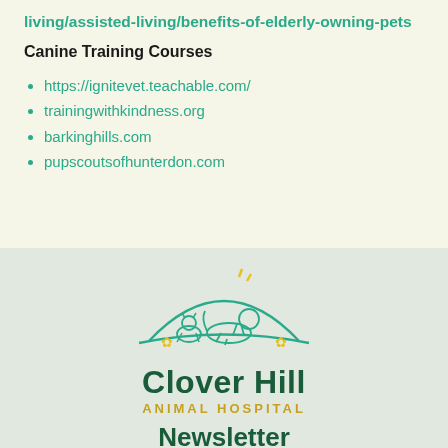living/assisted-living/benefits-of-elderly-owning-pets
Canine Training Courses
https://ignitevet.teachable.com/
trainingwithkindness.org
barkinghills.com
pupscoutsofhunterdon.com
[Figure (logo): Clover Hill Animal Hospital logo with animals silhouette under an arc, green and gold colors]
Newsletter